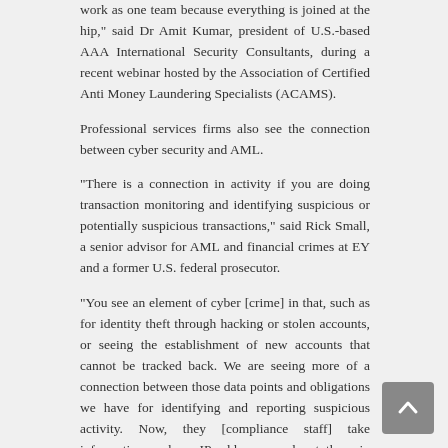work as one team because everything is joined at the hip," said Dr Amit Kumar, president of U.S.-based AAA International Security Consultants, during a recent webinar hosted by the Association of Certified Anti Money Laundering Specialists (ACAMS).
Professional services firms also see the connection between cyber security and AML.
"There is a connection in activity if you are doing transaction monitoring and identifying suspicious or potentially suspicious transactions," said Rick Small, a senior advisor for AML and financial crimes at EY and a former U.S. federal prosecutor.
"You see an element of cyber [crime] in that, such as for identity theft through hacking or stolen accounts, or seeing the establishment of new accounts that cannot be tracked back. We are seeing more of a connection between those data points and obligations we have for identifying and reporting suspicious activity. Now, they [compliance staff] take information such as IP addresses and put them in suspicious activity reports (SARs) if available when they are filed," he said.
Related, but not our remit
In the …